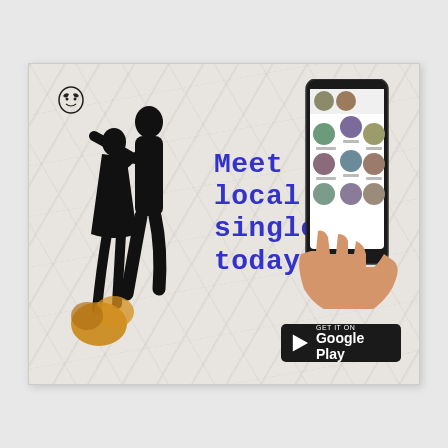[Figure (illustration): Dating app advertisement banner with marble background. Left side shows a couple silhouette dancing/embracing with an orange/yellow floral element at bottom. Center has blue typewriter-font text 'Meet local singles today!'. Upper left has a small logo icon. Right side shows a hand holding a smartphone displaying a dating app UI with circular profile photos. Bottom right has a Google Play store badge.]